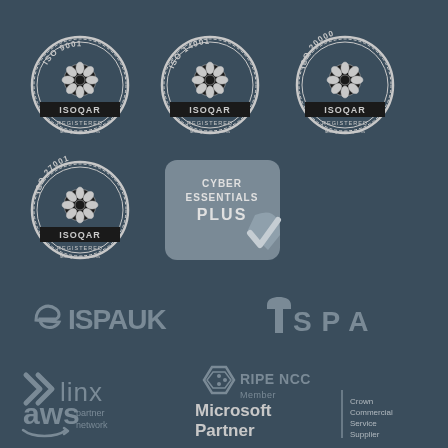[Figure (logo): ISOQAR ISO 9001 registered certification badge - circular badge with snowflake logo]
[Figure (logo): ISOQAR ISO 14001 registered certification badge - circular badge with snowflake logo]
[Figure (logo): ISOQAR ISO 20000 registered certification badge - circular badge with snowflake logo]
[Figure (logo): ISOQAR ISO 27001 registered certification badge - circular badge with snowflake logo]
[Figure (logo): Cyber Essentials Plus certification badge with checkmark]
[Figure (logo): ISPAUK logo]
[Figure (logo): ITSP A logo]
[Figure (logo): Linx logo with X symbol]
[Figure (logo): RIPE NCC Member logo]
[Figure (logo): AWS Partner Network logo]
[Figure (logo): Microsoft Partner logo]
[Figure (logo): Crown Commercial Service Supplier logo]